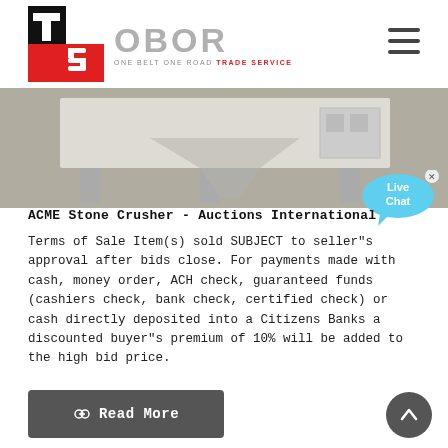[Figure (logo): OBOR Trade Service logo: TS monogram in red/black square, with OBOR text in grey and tagline ONE BELT ONE ROAD TRADE SERVICE]
[Figure (photo): Photo of an industrial stone crusher machine in a white/grey setting]
[Figure (other): Live Chat speech bubble widget in cyan/blue]
ACME Stone Crusher - Auctions International
Terms of Sale Item(s) sold SUBJECT to seller"s approval after bids close. For payments made with cash, money order, ACH check, guaranteed funds (cashiers check, bank check, certified check) or cash directly deposited into a Citizens Banks a discounted buyer"s premium of 10% will be added to the high bid price.
[Figure (other): Read More button (dark grey rounded rectangle with chain-link icon and white text)]
[Figure (other): Scroll-to-top circular dark grey button with upward arrow icon]